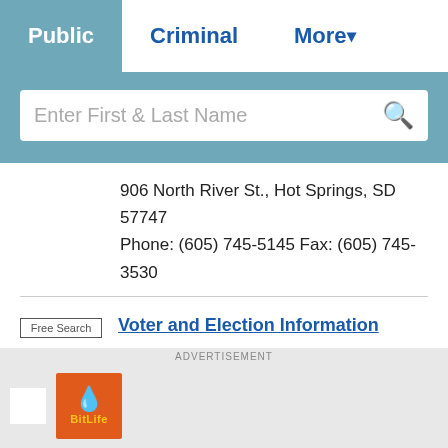Public | Criminal | More
Enter First & Last Name
906 North River St., Hot Springs, SD 57747
Phone: (605) 745-5145 Fax: (605) 745-3530
Voter and Election Information
View Fall River County voting precinct maps, information about absentee voting, voter registration, voter identification, and upcoming elections.
Meeting Minutes
ADVERTISEMENT